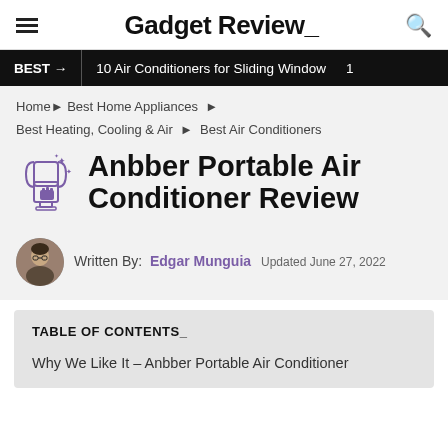Gadget Review_
BEST → | 10 Air Conditioners for Sliding Window
Home ▶ Best Home Appliances ▶ Best Heating, Cooling & Air ▶ Best Air Conditioners
Anbber Portable Air Conditioner Review
Written By: Edgar Munguia  Updated June 27, 2022
TABLE OF CONTENTS_
Why We Like It – Anbber Portable Air Conditioner